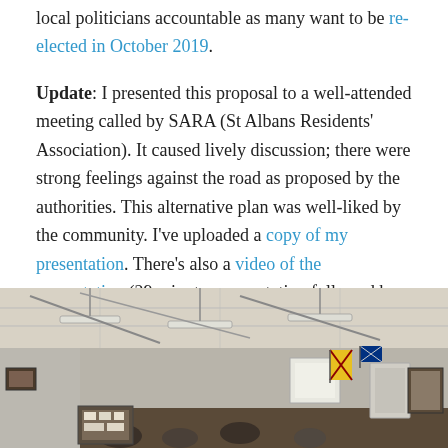local politicians accountable as many want to be re-elected in October 2019.
Update: I presented this proposal to a well-attended meeting called by SARA (St Albans Residents' Association). It caused lively discussion; there were strong feelings against the road as proposed by the authorities. This alternative plan was well-liked by the community. I've uploaded a copy of my presentation. There's also a video of the presentation (29 minutes presentation followed by 15 minutes of questions).
[Figure (photo): Interior of a community hall showing fluorescent strip lights hanging from the ceiling, walls with framed pictures and flags (including what appears to be a Scottish flag and Australian flag), and people visible in the lower portion.]